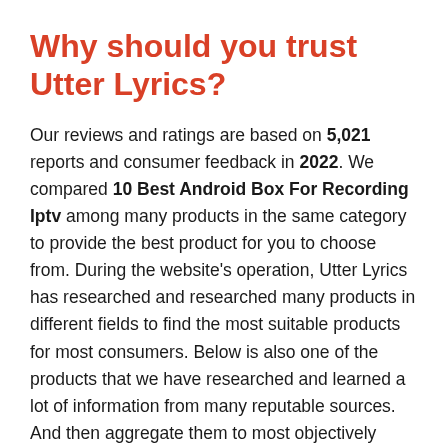Why should you trust Utter Lyrics?
Our reviews and ratings are based on 5,021 reports and consumer feedback in 2022. We compared 10 Best Android Box For Recording Iptv among many products in the same category to provide the best product for you to choose from. During the website's operation, Utter Lyrics has researched and researched many products in different fields to find the most suitable products for most consumers. Below is also one of the products that we have researched and learned a lot of information from many reputable sources. And then aggregate them to most objectively evaluate whether these products should be listed as one of the most suitable for compatible consumers, instead of offering other products. . We only